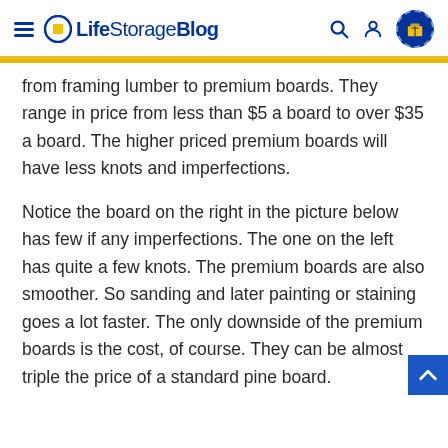Life Storage Blog
from framing lumber to premium boards. They range in price from less than $5 a board to over $35 a board. The higher priced premium boards will have less knots and imperfections.
Notice the board on the right in the picture below has few if any imperfections. The one on the left has quite a few knots. The premium boards are also smoother. So sanding and later painting or staining goes a lot faster. The only downside of the premium boards is the cost, of course. They can be almost triple the price of a standard pine board.